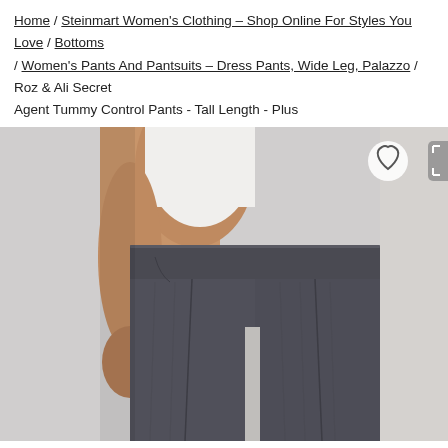Home / Steinmart Women's Clothing – Shop Online For Styles You Love / Bottoms / Women's Pants And Pantsuits – Dress Pants, Wide Leg, Palazzo / Roz & Ali Secret Agent Tummy Control Pants - Tall Length - Plus
[Figure (photo): Product photo of a plus-size woman wearing dark charcoal gray wide-leg dress pants with a wide waistband, paired with a white top. The image is cropped from the waist down, showing the front of the pants. Background is light gray. Heart icon and expand icon buttons overlay the top-right corner.]